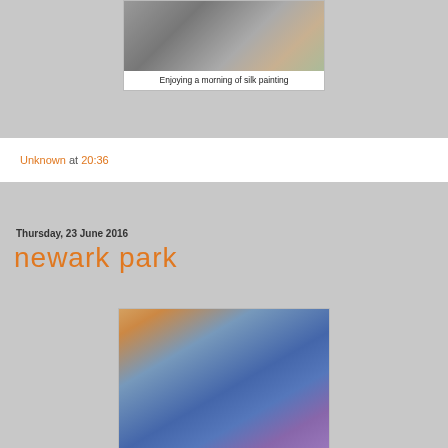[Figure (photo): Photo of people doing silk painting at a table with art supplies]
Enjoying a morning of silk painting
Unknown at 20:36
Thursday, 23 June 2016
newark park
[Figure (photo): Photo of a decorative painted folding screen/room divider with blue silk panels and ornate metal frame]